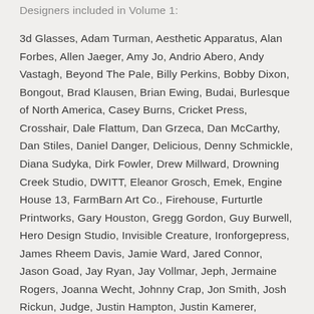Designers included in Volume 1:
3d Glasses, Adam Turman, Aesthetic Apparatus, Alan Forbes, Allen Jaeger, Amy Jo, Andrio Abero, Andy Vastagh, Beyond The Pale, Billy Perkins, Bobby Dixon, Bongout, Brad Klausen, Brian Ewing, Budai, Burlesque of North America, Casey Burns, Cricket Press, Crosshair, Dale Flattum, Dan Grzeca, Dan McCarthy, Dan Stiles, Daniel Danger, Delicious, Denny Schmickle, Diana Sudyka, Dirk Fowler, Drew Millward, Drowning Creek Studio, DWITT, Eleanor Grosch, Emek, Engine House 13, FarmBarn Art Co., Firehouse, Furturtle Printworks, Gary Houston, Gregg Gordon, Guy Burwell, Hero Design Studio, Invisible Creature, Ironforgepress, James Rheem Davis, Jamie Ward, Jared Connor, Jason Goad, Jay Ryan, Jay Vollmar, Jeph, Jermaine Rogers, Joanna Wecht, Johnny Crap, Jon Smith, Josh Rickun, Judge, Justin Hampton, Justin Kamerer, Largemammal Print, Leia Bell, Lil Tuffy, Little Jacket, Lonny